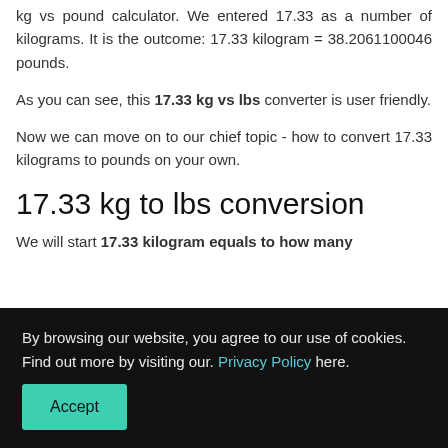kg vs pound calculator. We entered 17.33 as a number of kilograms. It is the outcome: 17.33 kilogram = 38.2061100046 pounds.
As you can see, this 17.33 kg vs lbs converter is user friendly.
Now we can move on to our chief topic - how to convert 17.33 kilograms to pounds on your own.
17.33 kg to lbs conversion
We will start 17.33 kilogram equals to how many
By browsing our website, you agree to our use of cookies. Find out more by visiting our. Privacy Policy here.